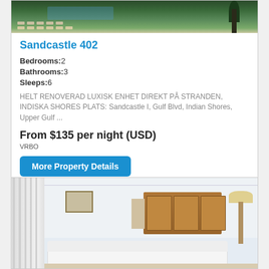[Figure (photo): Aerial/overhead view of a pool area with lounge chairs and greenery]
Sandcastle 402
Bedrooms:2
Bathrooms:3
Sleeps:6
HELT RENOVERAD LUXISK ENHET DIREKT PÅ STRANDEN, INDISKA SHORES PLATS: Sandcastle I, Gulf Blvd, Indian Shores, Upper Gulf ...
From $135 per night (USD)
VRBO
More Property Details
[Figure (photo): Interior photo of a bright living room/kitchen area with white sofa, wood cabinets, and light walls]